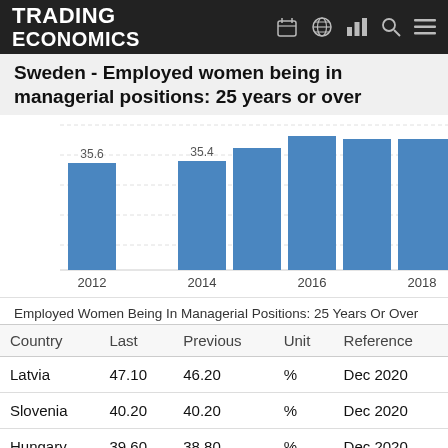TRADING ECONOMICS
Sweden - Employed women being in managerial positions: 25 years or over
[Figure (bar-chart): Sweden - Employed women being in managerial positions: 25 years or over]
Employed Women Being In Managerial Positions: 25 Years Or Over
| Country | Last | Previous | Unit | Reference |
| --- | --- | --- | --- | --- |
| Latvia | 47.10 | 46.20 | % | Dec 2020 |
| Slovenia | 40.20 | 40.20 | % | Dec 2020 |
| Hungary | 39.60 | 38.80 | % | Dec 2020 |